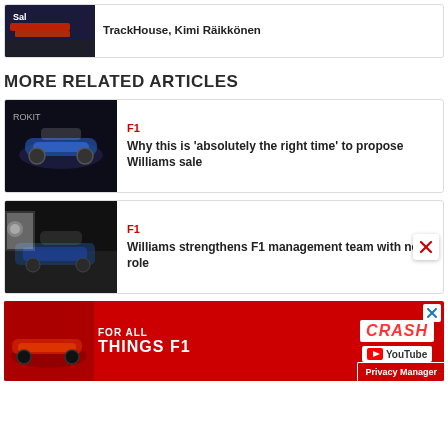[Figure (photo): Red F1 car photo with Sal branding visible]
TrackHouse, Kimi Raikkonen
MORE RELATED ARTICLES
[Figure (photo): Williams F1 car front view in dark setting]
F1
Why this is 'absolutely the right time' to propose Williams sale
[Figure (photo): Williams F1 car with crew in pit lane]
F1
Williams strengthens F1 management team with new role
[Figure (infographic): CRASH YouTube advertisement banner - FOR ALL THINGS F1]